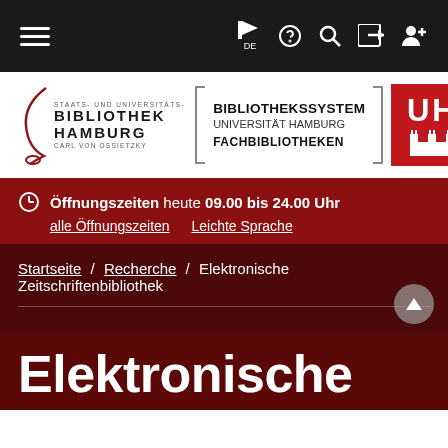[Figure (screenshot): Website navigation bar with hamburger menu, flag/DE language selector, question mark, search, login, and user registration icons on dark background]
[Figure (logo): Staats- und Universitätsbibliothek Hamburg Carl von Ossietzky logo with Bibliothekssystem Universität Hamburg Fachbibliotheken text in bracket frame and UH (Universität Hamburg) red logo]
Öffnungszeiten heute 09.00 bis 24.00 Uhr alle Öffnungszeiten Leichte Sprache
Startseite / Recherche / Elektronische Zeitschriftenbibliothek
Elektronische